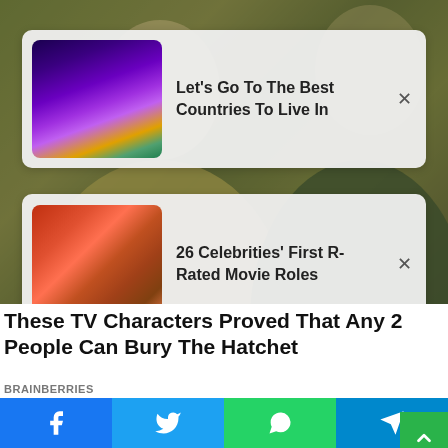[Figure (screenshot): Background photo of people in casual clothes, blurred TV scene]
Let's Go To The Best Countries To Live In
26 Celebrities' First R-Rated Movie Roles
These TV Characters Proved That Any 2 People Can Bury The Hatchet
BRAINBERRIES
[Figure (photo): Person's head/hair visible at bottom of page]
[Figure (infographic): Social share bar with Facebook, Twitter, WhatsApp, Telegram buttons]